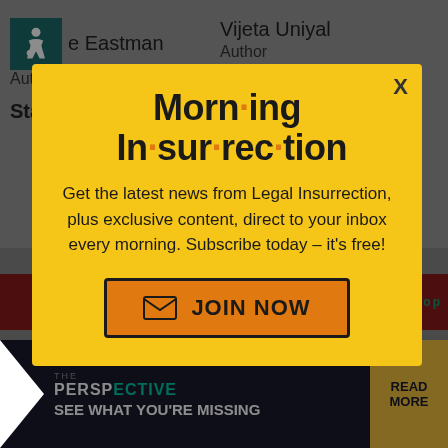e Eastman
Author
Vijeta Uniyal
Author
Stacey Matthews
Johanna Markind
[Figure (infographic): Morning Insurrection newsletter modal popup with yellow background. Title: 'Morn·ing In·sur·rec·tion' in bold black with orange bullet dots between syllables. Body text: 'Get the latest news from Legal Insurrection, plus exclusive content, direct to your inbox every morning. Subscribe today – it's free!' Orange JOIN NOW button with envelope icon. X close button top right.]
VIDEO OF THE DAY
[Figure (infographic): Advertisement bar: THE PERSPECTIVE logo with teal letters, 'SEE WHAT YOU'RE MISSING' text, READ MORE yellow button]